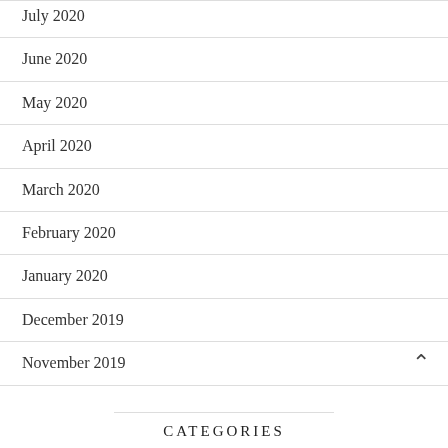July 2020
June 2020
May 2020
April 2020
March 2020
February 2020
January 2020
December 2019
November 2019
CATEGORIES